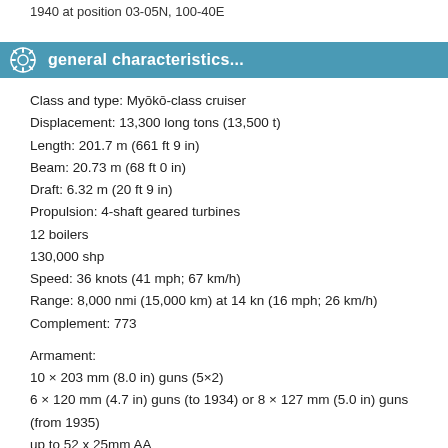1940 at position 03-05N, 100-40E
general characteristics...
Class and type: Myōkō-class cruiser
Displacement: 13,300 long tons (13,500 t)
Length: 201.7 m (661 ft 9 in)
Beam: 20.73 m (68 ft 0 in)
Draft: 6.32 m (20 ft 9 in)
Propulsion: 4-shaft geared turbines
12 boilers
130,000 shp
Speed: 36 knots (41 mph; 67 km/h)
Range: 8,000 nmi (15,000 km) at 14 kn (16 mph; 26 km/h)
Complement: 773
Armament:
10 × 203 mm (8.0 in) guns (5×2)
6 × 120 mm (4.7 in) guns (to 1934) or 8 × 127 mm (5.0 in) guns (from 1935)
up to 52 x 25mm AA
2 × 13 mm (0.51 in) machine guns
10 × 610 mm (24 in) torpedo tubes [1]